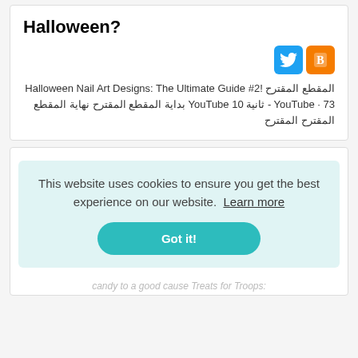Halloween?
[Figure (logo): Twitter and Blogger social media share icons]
المقطع المقترح Halloween Nail Art Designs: The Ultimate Guide #2! - YouTube · 73 ثانية 10 YouTube بداية المقطع المقترح نهاية المقطع المقترح المقترح
This website uses cookies to ensure you get the best experience on our website. Learn more
Got it!
candy to a good cause Treats for Troops: